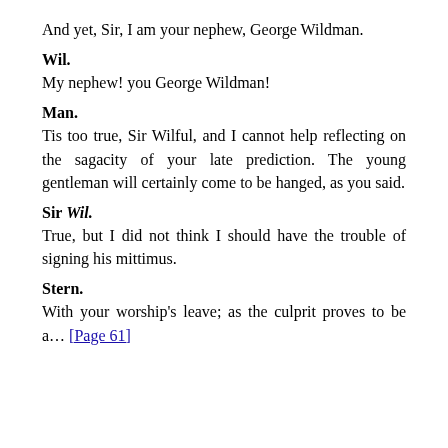And yet, Sir, I am your nephew, George Wildman.
Wil.
My nephew! you George Wildman!
Man.
Tis too true, Sir Wilful, and I cannot help reflecting on the sagacity of your late prediction. The young gentleman will certainly come to be hanged, as you said.
Sir Wil.
True, but I did not think I should have the trouble of signing his mittimus.
Stern.
With your worship's leave; as the culprit proves to be a... [Page 61]